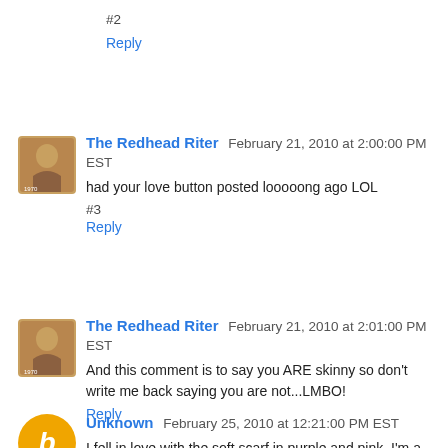#2
Reply
The Redhead Riter  February 21, 2010 at 2:00:00 PM EST
had your love button posted looooong ago LOL
#3
Reply
The Redhead Riter  February 21, 2010 at 2:01:00 PM EST
And this comment is to say you ARE skinny so don't write me back saying you are not...LMBO!
Reply
Unknown  February 25, 2010 at 12:21:00 PM EST
I fell in love with the soft scarf in purple and pink. I'm a Red